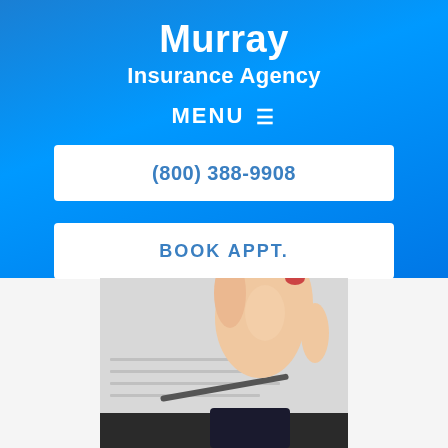Murray Insurance Agency
MENU ≡
(800) 388-9908
BOOK APPT.
[Figure (photo): Hand holding a pen over an insurance document or clipboard, photographed from above. Partial view showing fingers, a pen, and lined paper on a dark clipboard.]